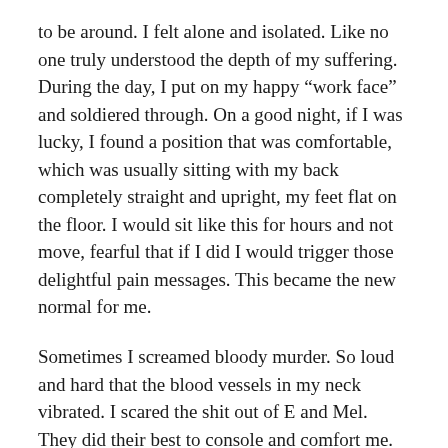to be around. I felt alone and isolated. Like no one truly understood the depth of my suffering. During the day, I put on my happy “work face” and soldiered through. On a good night, if I was lucky, I found a position that was comfortable, which was usually sitting with my back completely straight and upright, my feet flat on the floor. I would sit like this for hours and not move, fearful that if I did I would trigger those delightful pain messages. This became the new normal for me.
Sometimes I screamed bloody murder. So loud and hard that the blood vessels in my neck vibrated. I scared the shit out of E and Mel. They did their best to console and comfort me. But it was pointless. Life was pointless. Hopeless. I was an embarrassing useless burden. There were no words that could make this better. No words.